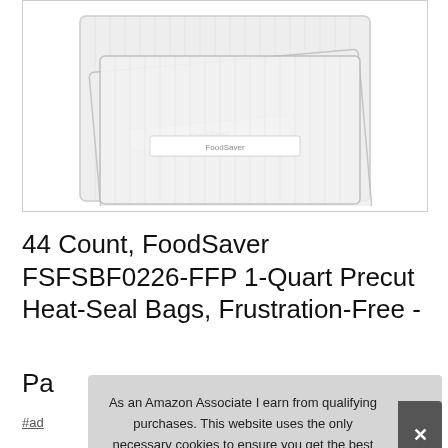[Figure (photo): Vacuum seal bags (FoodSaver) shown stacked, transparent plastic bags on white background]
44 Count, FoodSaver FSFSBF0226-FFP 1-Quart Precut Heat-Seal Bags, Frustration-Free - Pa
#ad
As an Amazon Associate I earn from qualifying purchases. This website uses the only necessary cookies to ensure you get the best experience on our website. More information